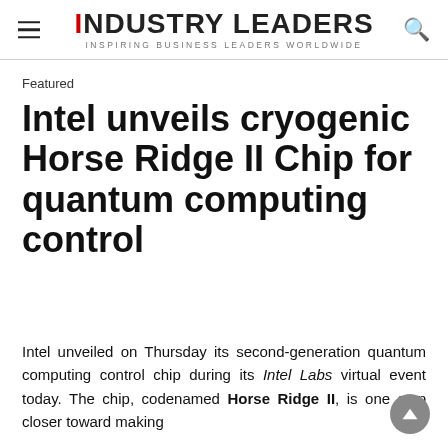iNDUSTRY LEADERS — INSPIRING BUSINESS LEADERS WORLDWIDE
Featured
Intel unveils cryogenic Horse Ridge II Chip for quantum computing control
Intel unveiled on Thursday its second-generation quantum computing control chip during its Intel Labs virtual event today. The chip, codenamed Horse Ridge II, is one step closer toward making